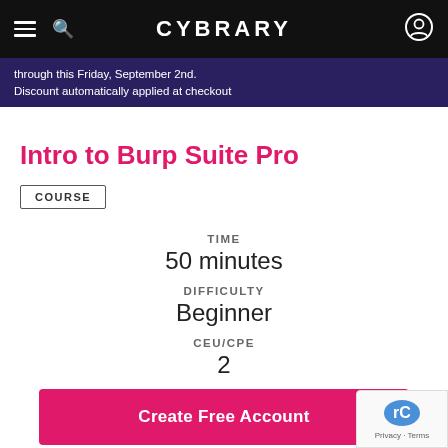CYBRARY
through this Friday, September 2nd. Discount automatically applied at checkout
Intro to Burp Suite Pro
COURSE
TIME
50 minutes
DIFFICULTY
Beginner
CEU/CPE
2
Create Free Account